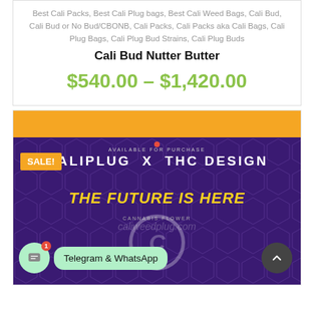Best Cali Packs, Best Cali Plug bags, Best Cali Weed Bags, Cali Bud, Cali Bud or No Bud/CBONB, Cali Packs, Cali Packs aka Cali Bags, Cali Plug Bags, Cali Plug Bud Strains, Cali Plug Buds
Cali Bud Nutter Butter
$540.00 – $1,420.00
[Figure (photo): Product photo of a cannabis bag branded CALIPLUG X THC DESIGN with text THE FUTURE IS HERE, purple bag with orange drip design, watermark calweedplug.com, with SALE! badge, chat bubble showing Telegram & WhatsApp, and scroll-to-top button]